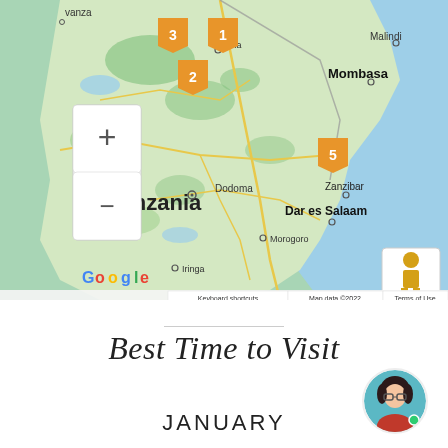[Figure (map): Google Maps screenshot showing East Africa region including Tanzania, Zanzibar, Mombasa, Dar es Salaam, Dodoma, Morogoro, Iringa, Malindi. Orange numbered map pins labeled 1, 2, 3, 5 are visible. Map data ©2022 Google. Zoom controls and Street View pegman visible.]
Best Time to Visit
JANUARY